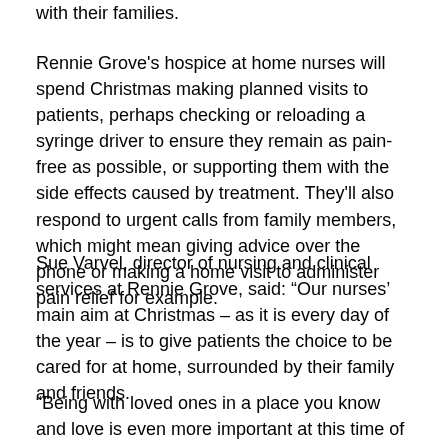with their families.
Rennie Grove's hospice at home nurses will spend Christmas making planned visits to patients, perhaps checking or reloading a syringe driver to ensure they remain as pain-free as possible, or supporting them with the side effects caused by treatment. They'll also respond to urgent calls from family members, which might mean giving advice over the phone or making a home visit to administer pain relief for example.
Sue Varvel, director of nursing and clinical services at Rennie Grove, said: “Our nurses’ main aim at Christmas – as it is every day of the year – is to give patients the choice to be cared for at home, surrounded by their family and friends.
“Being with loved ones in a place you know and love is even more important at this time of year so our nurses